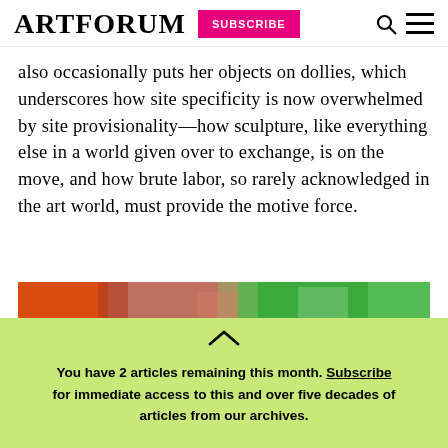ARTFORUM  SUBSCRIBE
also occasionally puts her objects on dollies, which underscores how site specificity is now overwhelmed by site provisionality—how sculpture, like everything else in a world given over to exchange, is on the move, and how brute labor, so rarely acknowledged in the art world, must provide the motive force.
[Figure (photo): Close-up of colorful textured fiber artwork with orange, pink, and green fluffy material]
You have 2 articles remaining this month. Subscribe for immediate access to this and over five decades of articles from our archives.